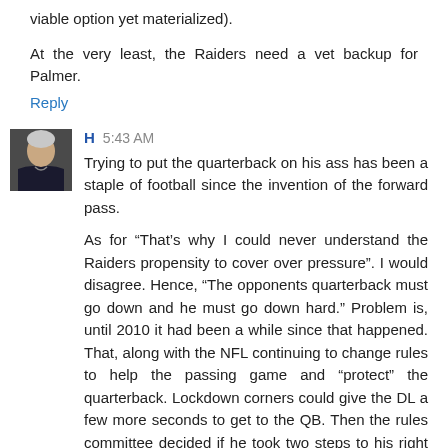viable option yet materialized).
At the very least, the Raiders need a vet backup for Palmer.
Reply
[Figure (photo): Avatar photo of commenter H, showing a person with grey/white hair, dark jacket with Raiders logo]
H 5:43 AM
Trying to put the quarterback on his ass has been a staple of football since the invention of the forward pass.
As for “That’s why I could never understand the Raiders propensity to cover over pressure”. I would disagree. Hence, “The opponents quarterback must go down and he must go down hard.” Problem is, until 2010 it had been a while since that happened. That, along with the NFL continuing to change rules to help the passing game and “protect” the quarterback. Lockdown corners could give the DL a few more seconds to get to the QB. Then the rules committee decided if he took two steps to his right and threw it out of bounds, that was ok.